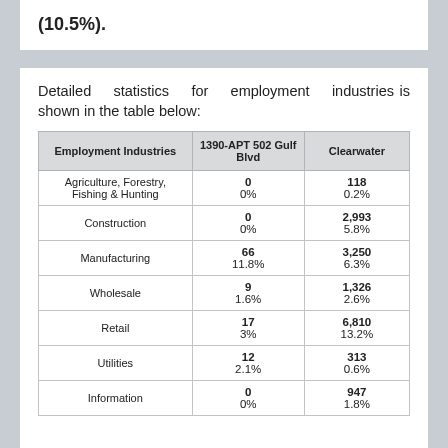(10.5%).
Detailed statistics for employment industries is shown in the table below:
| Employment Industries | 1390-APT 502 Gulf Blvd | Clearwater |
| --- | --- | --- |
| Agriculture, Forestry, Fishing & Hunting | 0
0% | 118
0.2% |
| Construction | 0
0% | 2,993
5.8% |
| Manufacturing | 66
11.8% | 3,250
6.3% |
| Wholesale | 9
1.6% | 1,326
2.6% |
| Retail | 17
3% | 6,810
13.2% |
| Utilities | 12
2.1% | 313
0.6% |
| Information | 0
0% | 947
1.8% |